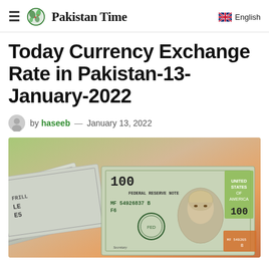Pakistan Time — English
Today Currency Exchange Rate in Pakistan-13-January-2022
by haseeb — January 13, 2022
[Figure (photo): Photo of US $100 dollar bills spread out, showing serial number MF54926837B F6, with colorful background in green and orange tones.]